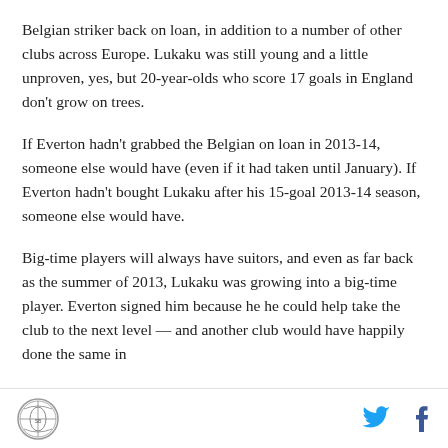Belgian striker back on loan, in addition to a number of other clubs across Europe. Lukaku was still young and a little unproven, yes, but 20-year-olds who score 17 goals in England don't grow on trees.
If Everton hadn't grabbed the Belgian on loan in 2013-14, someone else would have (even if it had taken until January). If Everton hadn't bought Lukaku after his 15-goal 2013-14 season, someone else would have.
Big-time players will always have suitors, and even as far back as the summer of 2013, Lukaku was growing into a big-time player. Everton signed him because he he could help take the club to the next level — and another club would have happily done the same in
[Logo] [Twitter] [Facebook]